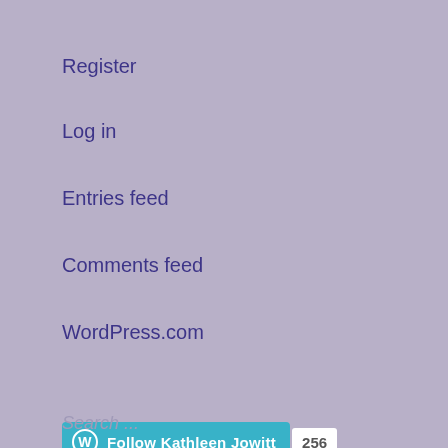Register
Log in
Entries feed
Comments feed
WordPress.com
[Figure (infographic): Follow Kathleen Jowitt button with WordPress logo and follower count of 256]
Search ...